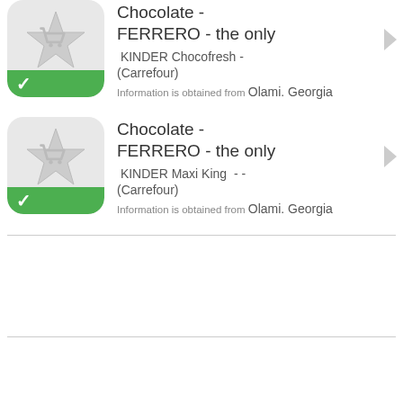Chocolate - FERRERO - the only | KINDER Chocofresh - (Carrefour) | Information is obtained from Olami. Georgia
Chocolate - FERRERO - the only | KINDER Maxi King  - - (Carrefour) | Information is obtained from Olami. Georgia